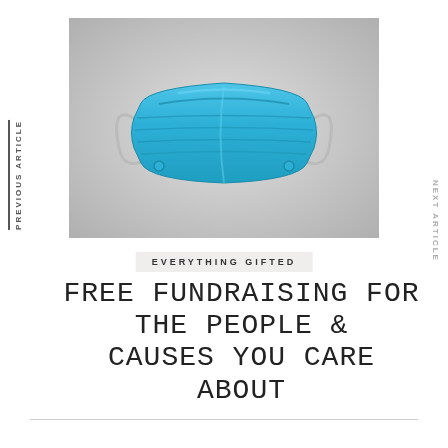PREVIOUS ARTICLE
NEXT ARTICLE
[Figure (photo): A blue disposable surgical face mask on a light grey background]
EVERYTHING GIFTED
FREE FUNDRAISING FOR THE PEOPLE & CAUSES YOU CARE ABOUT